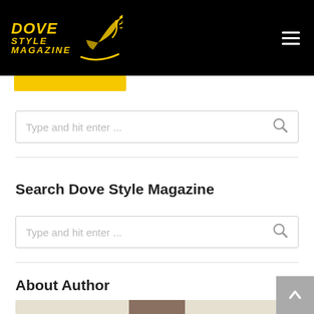Dove Style Magazine
[Figure (logo): Dove Style Magazine logo in yellow italic text with a dove/leaf graphic on black background, hamburger menu icon in top right]
Type and hit enter ...
Search Dove Style Magazine
Type and hit enter ...
About Author
[Figure (photo): Partial author photo, cropped at bottom of page]